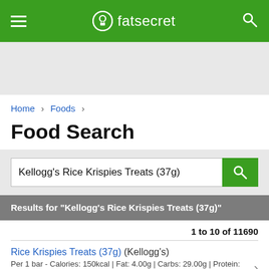fatsecret
Home › Foods ›
Food Search
Kellogg's Rice Krispies Treats (37g)
Results for "Kellogg's Rice Krispies Treats (37g)"
1 to 10 of 11690
Rice Krispies Treats (37g) (Kellogg's)
Per 1 bar - Calories: 150kcal | Fat: 4.00g | Carbs: 29.00g | Protein: 1.00g
Similar